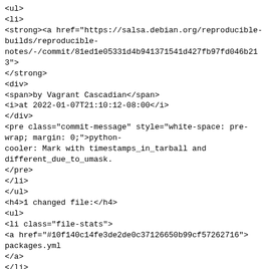<ul>
<li>
<strong><a href="https://salsa.debian.org/reproducible-builds/reproducible-notes/-/commit/81ed1e05331d4b941371541d427fb97fd046b213"></strong>
</strong>
<div>
<span>by Vagrant Cascadian</span>
<i>at 2022-01-07T21:10:12-08:00</i>
</div>
<pre class="commit-message" style="white-space: pre-wrap; margin: 0;">python-cooler: Mark with timestamps_in_tarball and different_due_to_umask.
</pre>
</li>
</ul>
<h4>1 changed file:</h4>
<ul>
<li class="file-stats">
<a href="#10f140c14fe3de2de0c37126650b99cf57262716">
packages.yml
</a>
</li>
</ul>
<h4>Changes:</h4>
<li id="10f140c14fe3de2de0c37126650b99cf57262716">
<a href="https://salsa.debian.org/reproducible-builds/reproducible-notes/-/commit/81ed1e05331d4b941371541d427fb97fd046b213#1